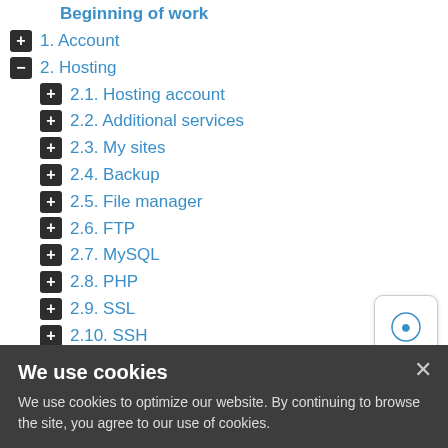Beginning of work
1. Account
2. Hosting
2.1. Hosting account
2.2. Additional services
2.3. My sites
2.4. Backup
2.5. File manager
2.6. FTP
2.7. MySQL
2.8. PHP
2.9. SSL
2.10. SSH
2.11. cron
2.12. .htaccess
2.13. CMS
[Figure (other): Tooltip/help button with lightbulb icon]
We use cookies
We use cookies to optimize our website. By continuing to browse the site, you agree to our use of cookies.